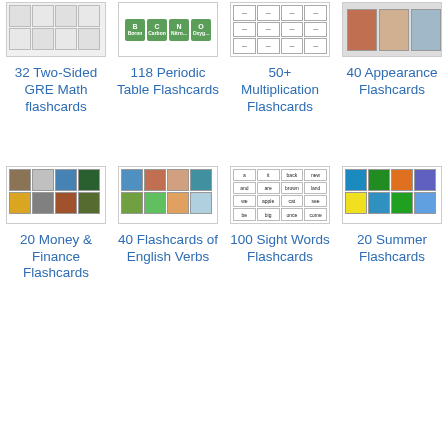[Figure (screenshot): Thumbnail of GRE math flashcard]
[Figure (screenshot): Thumbnail of periodic table flashcards with colored element cells]
[Figure (screenshot): Thumbnail of multiplication flashcards grid]
[Figure (screenshot): Thumbnail of appearance flashcards showing people photos]
32 Two-Sided GRE Math flashcards
118 Periodic Table Flashcards
50+ Multiplication Flashcards
40 Appearance Flashcards
[Figure (screenshot): Thumbnail of money and finance flashcards with photos]
[Figure (screenshot): Thumbnail of English verbs flashcards showing people]
[Figure (screenshot): Thumbnail of 100 sight words flashcards grid]
[Figure (screenshot): Thumbnail of summer flashcards with outdoor photos]
20 Money & Finance Flashcards
40 Flashcards of English Verbs
100 Sight Words Flashcards
20 Summer Flashcards